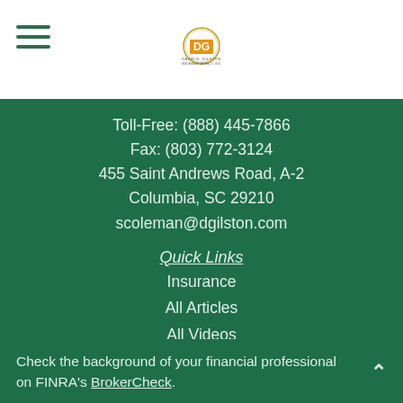[Figure (logo): David R. Gilston Insurance Agency logo with circular emblem and company name text]
Toll-Free: (888) 445-7866
Fax: (803) 772-3124
455 Saint Andrews Road, A-2
Columbia, SC 29210
scoleman@dgilston.com
Quick Links
Insurance
All Articles
All Videos
All Calculators
All Presentations
Check the background of your financial professional on FINRA's BrokerCheck.